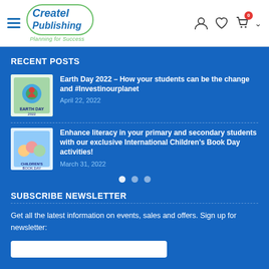[Figure (logo): Createl Publishing logo with green ellipse and tagline 'Planning for Success']
RECENT POSTS
[Figure (illustration): Earth Day 2022 book cover thumbnail with heart and globe imagery]
Earth Day 2022 – How your students can be the change and #Investinourplanet
April 22, 2022
[Figure (illustration): International Children's Book Day activities thumbnail with children reading]
Enhance literacy in your primary and secondary students with our exclusive International Children's Book Day activities!
March 31, 2022
SUBSCRIBE NEWSLETTER
Get all the latest information on events, sales and offers. Sign up for newsletter: